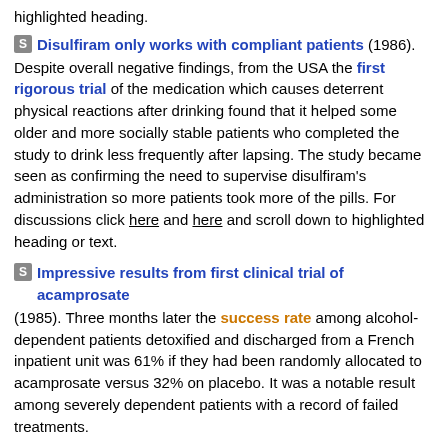highlighted heading.
S Disulfiram only works with compliant patients (1986). Despite overall negative findings, from the USA the first rigorous trial of the medication which causes deterrent physical reactions after drinking found that it helped some older and more socially stable patients who completed the study to drink less frequently after lapsing. The study became seen as confirming the need to supervise disulfiram's administration so more patients took more of the pills. For discussions click here and here and scroll down to highlighted heading or text.
S Impressive results from first clinical trial of acamprosate (1985). Three months later the success rate among alcohol-dependent patients detoxified and discharged from a French inpatient unit was 61% if they had been randomly allocated to acamprosate versus 32% on placebo. It was a notable result among severely dependent patients with a record of failed treatments.
S Benzodiazepines best withdrawal treatment (1969). Study which clarified the dangerous confusion over how to prevent the life-threatening complications of alcohol withdrawal.
K Acamprosate fails for UK patients (2000). Despite positive findings elsewhere, large UK trial did not find acamprosate